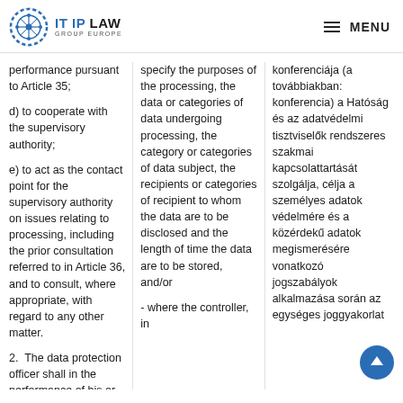IT IP LAW GROUP EUROPE — MENU
performance pursuant to Article 35;

d) to cooperate with the supervisory authority;

e) to act as the contact point for the supervisory authority on issues relating to processing, including the prior consultation referred to in Article 36, and to consult, where appropriate, with regard to any other matter.

2. The data protection officer shall in the performance of his or
specify the purposes of the processing, the data or categories of data undergoing processing, the category or categories of data subject, the recipients or categories of recipient to whom the data are to be disclosed and the length of time the data are to be stored, and/or

- where the controller, in
konferenciája (a továbbiakban: konferencia) a Hatóság és az adatvédelmi tisztviselők rendszeres szakmai kapcsolattartását szolgálja, célja a személyes adatok védelmére és a közérdekű adatok megismerésére vonatkozó jogszabályok alkalmazása során az egységes joggyakorlat